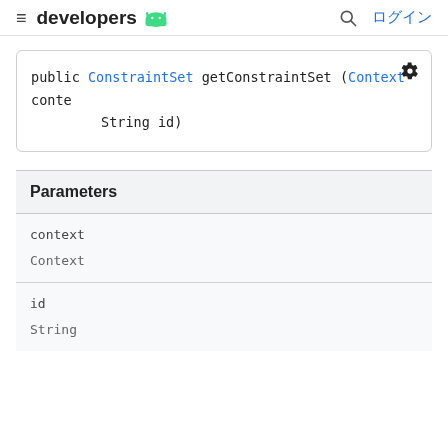≡ developers [Android logo] 🔍 ログイン
public ConstraintSet getConstraintSet (Context context,
    String id)
| Parameters |
| --- |
| context | Context |
| id | String |